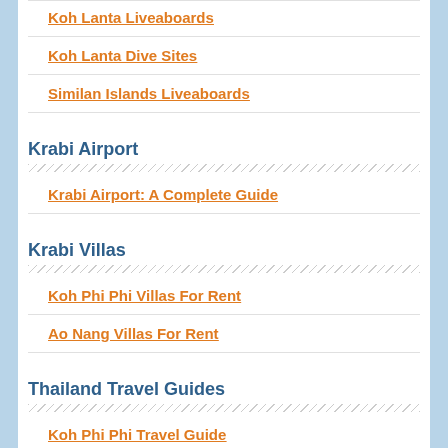Koh Lanta Liveaboards
Koh Lanta Dive Sites
Similan Islands Liveaboards
Krabi Airport
Krabi Airport: A Complete Guide
Krabi Villas
Koh Phi Phi Villas For Rent
Ao Nang Villas For Rent
Thailand Travel Guides
Koh Phi Phi Travel Guide